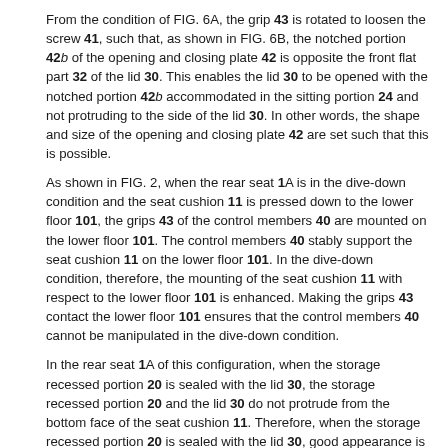From the condition of FIG. 6A, the grip 43 is rotated to loosen the screw 41, such that, as shown in FIG. 6B, the notched portion 42b of the opening and closing plate 42 is opposite the front flat part 32 of the lid 30. This enables the lid 30 to be opened with the notched portion 42b accommodated in the sitting portion 24 and not protruding to the side of the lid 30. In other words, the shape and size of the opening and closing plate 42 are set such that this is possible.
As shown in FIG. 2, when the rear seat 1A is in the dive-down condition and the seat cushion 11 is pressed down to the lower floor 101, the grips 43 of the control members 40 are mounted on the lower floor 101. The control members 40 stably support the seat cushion 11 on the lower floor 101. In the dive-down condition, therefore, the mounting of the seat cushion 11 with respect to the lower floor 101 is enhanced. Making the grips 43 contact the lower floor 101 ensures that the control members 40 cannot be manipulated in the dive-down condition.
In the rear seat 1A of this configuration, when the storage recessed portion 20 is sealed with the lid 30, the storage recessed portion 20 and the lid 30 do not protrude from the bottom face of the seat cushion 11. Therefore, when the storage recessed portion 20 is sealed with the lid 30, good appearance is ensured by non-exposure of the storage recessed portion 20, not only when the rear seat 1A is in the condition of possible for sitting but also in the dive-down condition. Furthermore, the storage recessed portion...